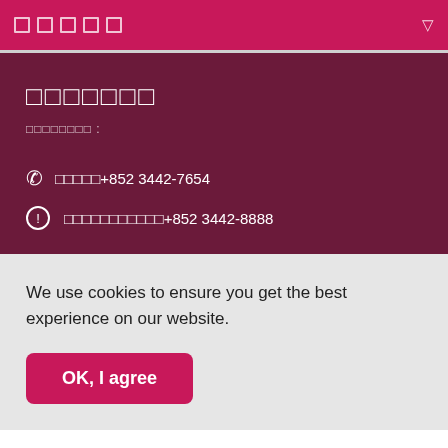□□□□□
□□□□□□□
□□□□□□□□ :
☎ □□□□□+852 3442-7654
ⓘ □□□□□□□□□□□+852 3442-8888
We use cookies to ensure you get the best experience on our website.
OK, I agree